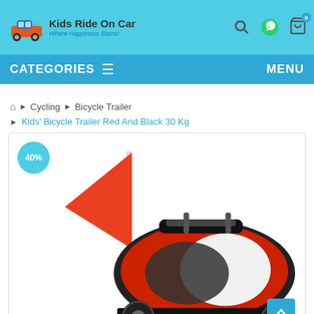[Figure (logo): Kids Ride On Car logo with cartoon car and tagline 'Where Happiness Starts!']
CATEGORIES  ≡    MENU
🏠 ▶ Cycling ▶ Bicycle Trailer
▶ Kids' Bicycle Trailer Red And Black 30 Kg
[Figure (photo): Kids bicycle trailer in red and black with a red safety flag, 40% discount badge shown. Product image shows trailer body with mesh window and white accent panels.]